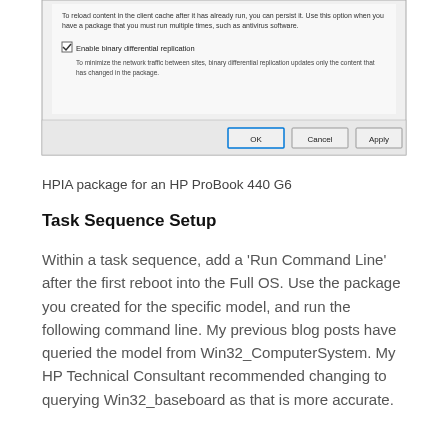[Figure (screenshot): A Windows dialog box showing package properties. A checkbox labeled 'Enable binary differential replication' is checked. Below it is text: 'To minimize the network traffic between sites, binary differential replication updates only the content that has changed in the package.' At the bottom are three buttons: OK, Cancel, Apply.]
HPIA package for an HP ProBook 440 G6
Task Sequence Setup
Within a task sequence, add a 'Run Command Line' after the first reboot into the Full OS. Use the package you created for the specific model, and run the following command line. My previous blog posts have queried the model from Win32_ComputerSystem. My HP Technical Consultant recommended changing to querying Win32_baseboard as that is more accurate.